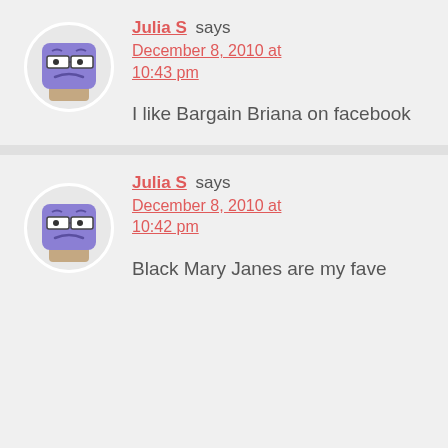Julia S says December 8, 2010 at 10:43 pm
I like Bargain Briana on facebook
Julia S says December 8, 2010 at 10:42 pm
Black Mary Janes are my fave